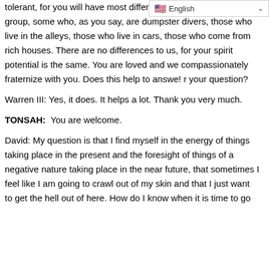tolerant, for you will have most different types in your group, some who, as you say, are dumpster divers, those who live in the alleys, those who live in cars, those who come from rich houses. There are no differences to us, for your spirit potential is the same. You are loved and we compassionately fraternize with you. Does this help to answe! r your question?
Warren III: Yes, it does. It helps a lot. Thank you very much.
TONSAH:  You are welcome.
David: My question is that I find myself in the energy of things taking place in the present and the foresight of things of a negative nature taking place in the near future, that sometimes I feel like I am going to crawl out of my skin and that I just want to get the hell out of here. How do I know when it is time to go